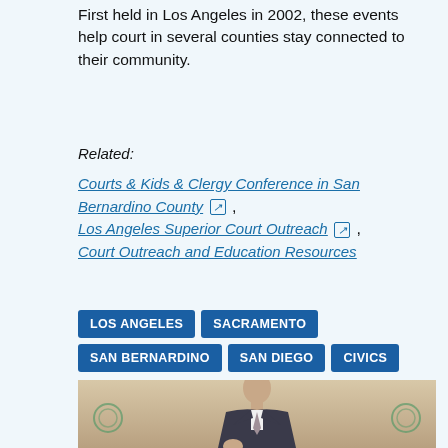First held in Los Angeles in 2002, these events help court in several counties stay connected to their community.
Related:
Courts & Kids & Clergy Conference in San Bernardino County , Los Angeles Superior Court Outreach , Court Outreach and Education Resources
LOS ANGELES
SACRAMENTO
SAN BERNARDINO
SAN DIEGO
CIVICS
[Figure (photo): A man in a dark suit and tie speaking, photographed from chest up, with a beige/tan background.]